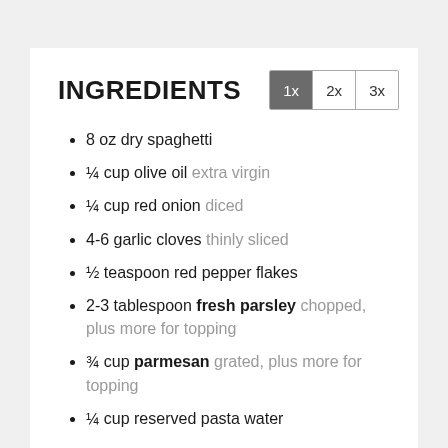INGREDIENTS
8 oz dry spaghetti
¼ cup olive oil extra virgin
¼ cup red onion diced
4-6 garlic cloves thinly sliced
½ teaspoon red pepper flakes
2-3 tablespoon fresh parsley chopped, plus more for topping
¾ cup parmesan grated, plus more for topping
¼ cup reserved pasta water